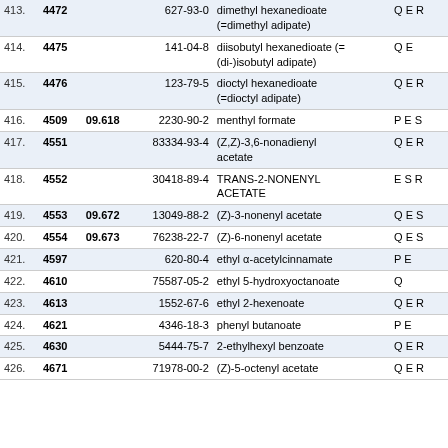| No. | ID | Ref | CAS | Name | Code |
| --- | --- | --- | --- | --- | --- |
| 413. | 4472 |  | 627-93-0 | dimethyl hexanedioate (=dimethyl adipate) | Q E R |
| 414. | 4475 |  | 141-04-8 | diisobutyl hexanedioate (= (di-)isobutyl adipate) | Q E |
| 415. | 4476 |  | 123-79-5 | dioctyl hexanedioate (=dioctyl adipate) | Q E R |
| 416. | 4509 | 09.618 | 2230-90-2 | menthyl formate | P E S |
| 417. | 4551 |  | 83334-93-4 | (Z,Z)-3,6-nonadienyl acetate | Q E R |
| 418. | 4552 |  | 30418-89-4 | TRANS-2-NONENYL ACETATE | E S R |
| 419. | 4553 | 09.672 | 13049-88-2 | (Z)-3-nonenyl acetate | Q E S |
| 420. | 4554 | 09.673 | 76238-22-7 | (Z)-6-nonenyl acetate | Q E S |
| 421. | 4597 |  | 620-80-4 | ethyl α-acetylcinnamate | P E |
| 422. | 4610 |  | 75587-05-2 | ethyl 5-hydroxyoctanoate | Q |
| 423. | 4613 |  | 1552-67-6 | ethyl 2-hexenoate | Q E R |
| 424. | 4621 |  | 4346-18-3 | phenyl butanoate | P E |
| 425. | 4630 |  | 5444-75-7 | 2-ethylhexyl benzoate | Q E R |
| 426. | 4671 |  | 71978-00-2 | (Z)-5-octenyl acetate | Q E R |